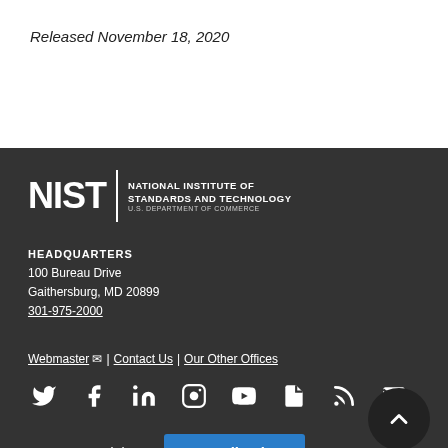Released November 18, 2020
[Figure (logo): NIST - National Institute of Standards and Technology, U.S. Department of Commerce logo]
HEADQUARTERS
100 Bureau Drive
Gaithersburg, MD 20899
301-975-2000
Webmaster ✉ | Contact Us | Our Other Offices
[Figure (infographic): Social media icons: Twitter, Facebook, LinkedIn, Instagram, YouTube, GovDelivery, RSS, Email]
How are we doing? Feedback